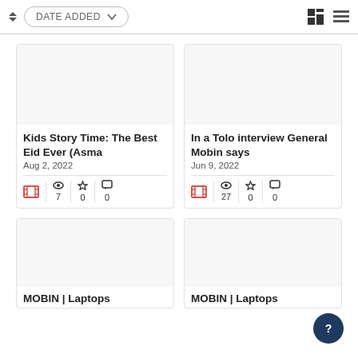DATE ADDED toolbar with sort and view controls
[Figure (screenshot): Content card: Kids Story Time: The Best Eid Ever (Asma, Aug 2, 2022, views:7, stars:0, comments:0]
[Figure (screenshot): Content card: In a Tolo interview General Mobin says, Jun 9, 2022, views:27, stars:0, comments:0]
[Figure (screenshot): Partial card bottom left: MOBIN | Laptops]
[Figure (screenshot): Partial card bottom right: MOBIN | Laptops]